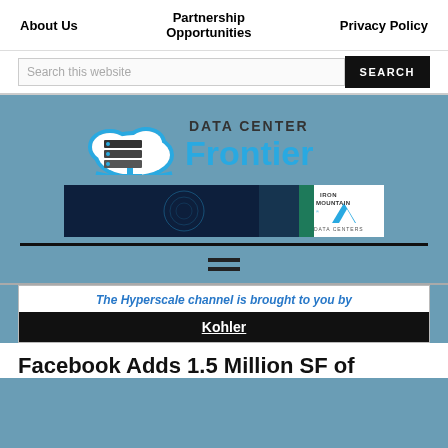About Us | Partnership Opportunities | Privacy Policy
Search this website
[Figure (logo): Data Center Frontier logo with cloud and server stack icon]
[Figure (illustration): Iron Mountain Data Centers advertisement banner]
[Figure (illustration): Hamburger menu icon (three horizontal lines)]
The Hyperscale channel is brought to you by Kohler
Facebook Adds 1.5 Million SF of